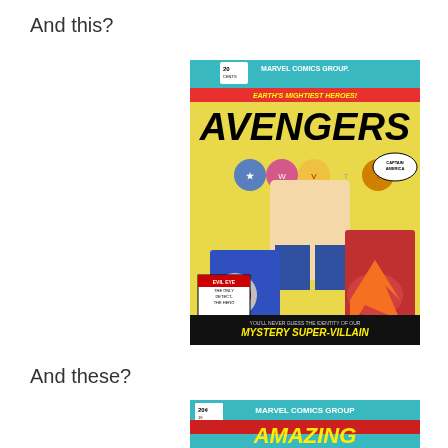And this?
[Figure (photo): A photograph of a Marvel Comics Group Avengers comic book cover showing Captain America and other heroes fighting a Mystery Super-Villain. The cover includes character headshots of several Avengers and text reading MARVEL COMICS GROUP, AVENGERS, EARTH'S MIGHTIEST HEROES, and MYSTERY SUPER-VILLAIN. Priced at 20 cents.]
And these?
[Figure (photo): A partially visible Marvel Comics comic book cover showing MARVEL COMICS GROUP at the top and the beginning of The Amazing Spider-Man title, priced at 20 cents.]